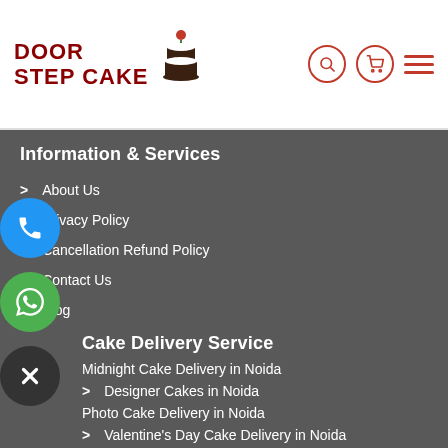[Figure (logo): Door Step Cake logo with cake icon]
Information & Services
About Us
Privacy Policy
Cancellation Refund Policy
Contact Us
Blog
Cake Delivery Service
Midnight Cake Delivery in Noida
Designer Cakes in Noida
Photo Cake Delivery in Noida
Valentine's Day Cake Delivery in Noida